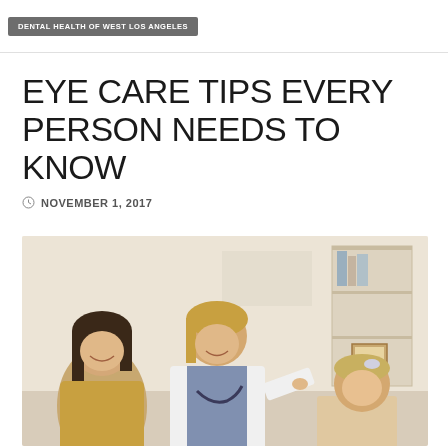DENTAL HEALTH OF WEST LOS ANGELES
EYE CARE TIPS EVERY PERSON NEEDS TO KNOW
NOVEMBER 1, 2017
[Figure (photo): A female doctor in a white coat with a stethoscope examining a child, with a smiling mother in the background, set in a medical office with shelves.]